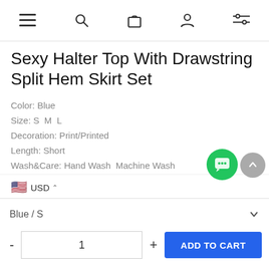Navigation bar with menu, search, bag, account, and filter icons
Sexy Halter Top With Drawstring Split Hem Skirt Set
Color: Blue
Size: S  M  L
Decoration: Print/Printed
Length: Short
Wash&Care: Hand Wash  Machine Wash
USD
Blue / S
1
ADD TO CART